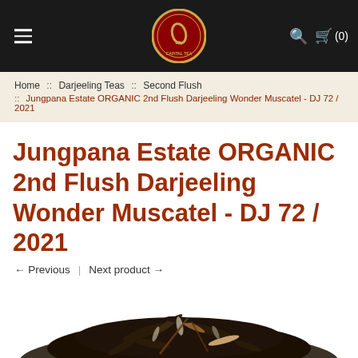Capital Tea — navigation bar with logo, search, and cart (0)
Home :: Darjeeling Teas :: Second Flush :: Jungpana Estate ORGANIC 2nd Flush Darjeeling Wonder Muscatel - DJ 72 / 2021
Jungpana Estate ORGANIC 2nd Flush Darjeeling Wonder Muscatel - DJ 72 / 2021
← Previous | Next product →
[Figure (photo): Pile of loose leaf dark Darjeeling tea leaves (Jungpana Estate ORGANIC 2nd Flush Wonder Muscatel) on a white background]